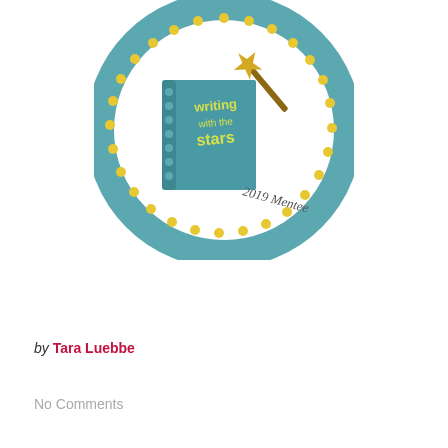[Figure (logo): Circular badge for 'Writing with the Stars 2019 Mentee' program. Teal/blue circle border with yellow dots, featuring a teal spiral notebook and a gold star wand/pen. Text inside reads 'writing with the stars' and '2019 Mentee' in handwritten style.]
by Tara Luebbe
No Comments